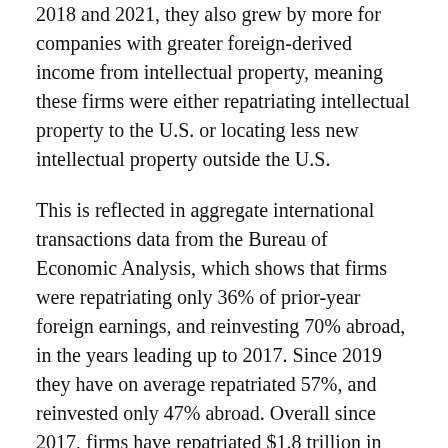2018 and 2021, they also grew by more for companies with greater foreign-derived income from intellectual property, meaning these firms were either repatriating intellectual property to the U.S. or locating less new intellectual property outside the U.S.
This is reflected in aggregate international transactions data from the Bureau of Economic Analysis, which shows that firms were repatriating only 36% of prior-year foreign earnings, and reinvesting 70% abroad, in the years leading up to 2017. Since 2019 they have on average repatriated 57%, and reinvested only 47% abroad. Overall since 2017, firms have repatriated $1.8 trillion in past overseas earnings.
In addition, the average annual dollar value of acquisitions by U.S. companies of foreign assets in 2018 and 2019 was 50% higher than in the two preceding years, while acquisitions of U.S. assets by foreign companies declined by 35%. All of this to say that the